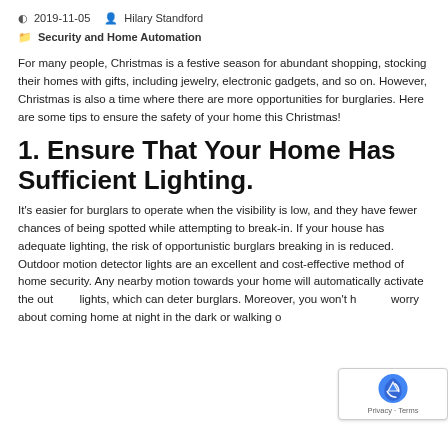2019-11-05  Hilary Standford
Security and Home Automation
For many people, Christmas is a festive season for abundant shopping, stocking their homes with gifts, including jewelry, electronic gadgets, and so on. However, Christmas is also a time where there are more opportunities for burglaries. Here are some tips to ensure the safety of your home this Christmas!
1.  Ensure That Your Home Has Sufficient Lighting.
It's easier for burglars to operate when the visibility is low, and they have fewer chances of being spotted while attempting to break-in. If your house has adequate lighting, the risk of opportunistic burglars breaking in is reduced. Outdoor motion detector lights are an excellent and cost-effective method of home security. Any nearby motion towards your home will automatically activate the outdoor lights, which can deter burglars. Moreover, you won't have to worry about coming home at night in the dark or walking on